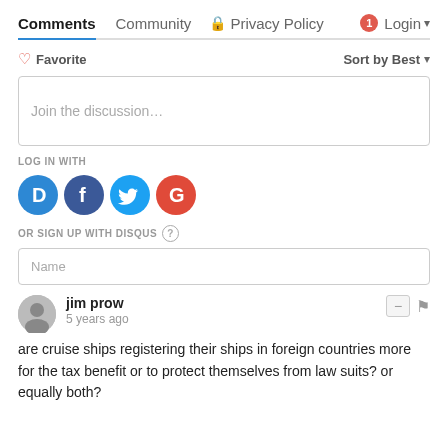Comments  Community  Privacy Policy  1  Login
♡ Favorite  Sort by Best
Join the discussion…
LOG IN WITH
[Figure (illustration): Social login icons: Disqus (blue D bubble), Facebook (dark blue F), Twitter (light blue bird), Google (red G)]
OR SIGN UP WITH DISQUS ?
Name
jim prow
5 years ago
are cruise ships registering their ships in foreign countries more for the tax benefit or to protect themselves from law suits? or equally both?